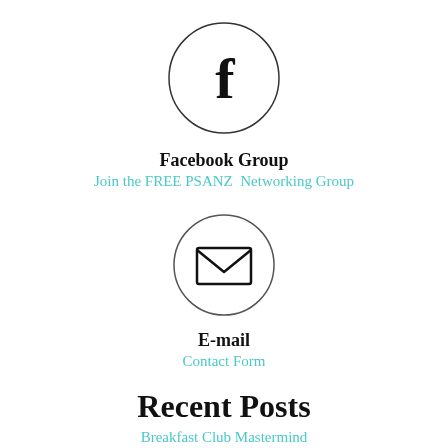[Figure (illustration): Circle with Facebook 'f' logo inside]
Facebook Group
Join the FREE PSANZ  Networking Group
[Figure (illustration): Circle with envelope/email icon inside]
E-mail
Contact Form
Recent Posts
Breakfast Club Mastermind